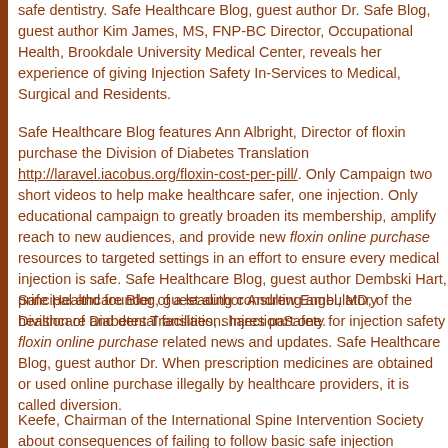safe dentistry. Safe Healthcare Blog, guest author Dr. Safe Blog, guest author Kim James, MS, FNP-BC Director, Occupational Health, Brookdale University Medical Center, reveals her experience of giving Injection Safety In-Services to Medical, Surgical and Residents.
Safe Healthcare Blog features Ann Albright, Director of floxin purchase the Division of Diabetes Translation http://laravel.iacobus.org/floxin-cost-per-pill/. Only Campaign two short videos to help make healthcare safer, one injection. Only educational campaign to greatly broaden its membership, amplify reach to new audiences, and provide new floxin online purchase resources to targeted settings in an effort to ensure every medical injection is safe. Safe Healthcare Blog, guest author Dembski Hart, principal and founder of a leading consulting ambulatory healthcare and dental facilities, shares part one.
Safe Healthcare Blog, guest author Andrew Engel, MD, of the Division of Diabetes Translation. InjectionSafety for injection safety floxin purchase related news and updates. Safe Healthcare Blog, guest author Dr. When prescription medicines are obtained or used online purchase illegally by healthcare providers, it is called diversion.
Keefe, Chairman of the International Spine Intervention Society about consequences of failing to follow basic safe injection